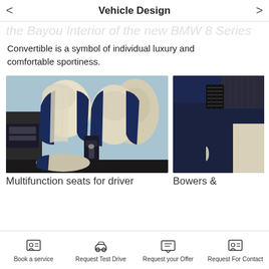Vehicle Design
Convertible is a symbol of individual luxury and comfortable sportiness.
[Figure (photo): BMW 8 Series interior showing two front seats in cream/beige leather with navy blue accents, convertible top open, blue sky background]
[Figure (photo): BMW 8 Series door panel detail showing dark navy trim with air vents and cream leather door handle]
Multifunction seats for driver
Bowers &
Book a service   Request Test Drive   Request your Offer   Request For Contact